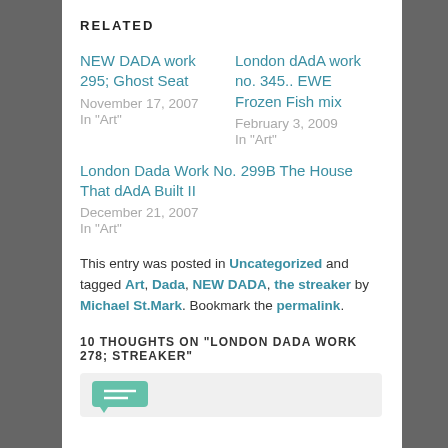RELATED
NEW DADA work 295; Ghost Seat
November 17, 2007
In "Art"
London dAdA work no. 345.. EWE Frozen Fish mix
February 3, 2009
In "Art"
London Dada Work No. 299B The House That dAdA Built II
December 21, 2007
In "Art"
This entry was posted in Uncategorized and tagged Art, Dada, NEW DADA, the streaker by Michael St.Mark. Bookmark the permalink.
10 THOUGHTS ON "LONDON DADA WORK 278; STREAKER"